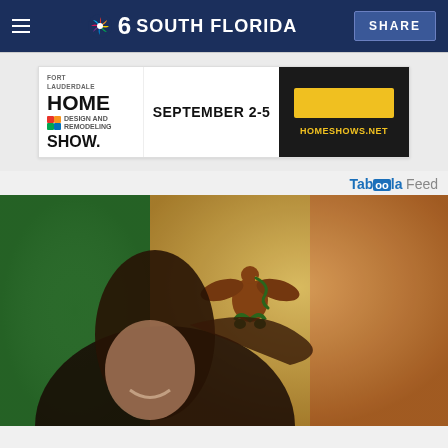NBC 6 South Florida — SHARE
[Figure (screenshot): Fort Lauderdale Home Design and Remodeling Show advertisement banner. Text: FORT LAUDERDALE HOME SHOW, SEPTEMBER 2-5, HOMESHOWS.NET with yellow button]
Taboola Feed
[Figure (photo): Smiling woman with flowing brown hair superimposed over Mexican flag (green, gold/white with eagle emblem, red stripes)]